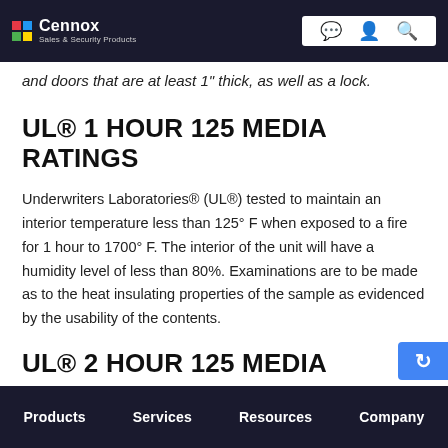Cennox — Sales & Security Products
and doors that are at least 1" thick, as well as a lock.
UL® 1 HOUR 125 MEDIA RATINGS
Underwriters Laboratories® (UL®) tested to maintain an interior temperature less than 125° F when exposed to a fire for 1 hour to 1700° F. The interior of the unit will have a humidity level of less than 80%. Examinations are to be made as to the heat insulating properties of the sample as evidenced by the usability of the contents.
UL® 2 HOUR 125 MEDIA
Products   Services   Resources   Company